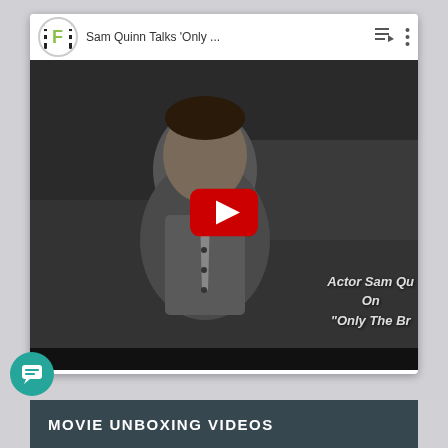[Figure (screenshot): YouTube embedded video player showing Sam Quinn Talks 'Only ...' with a man in a grey vest and tie, red YouTube play button overlay, text overlay reading 'Actor Sam Qu On "Only The Br' partially visible on right side.]
MOVIE UNBOXING VIDEOS